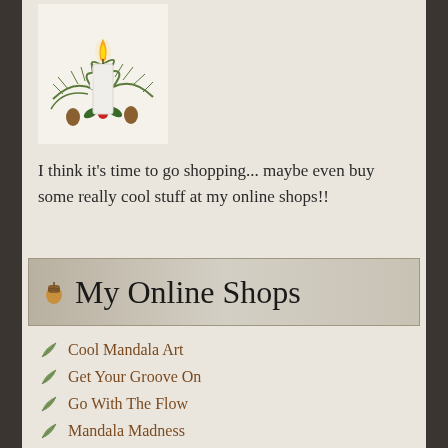[Figure (illustration): Christmas candle with pine branches and holly illustration on white background]
I think it's time to go shopping... maybe even buy some really cool stuff at my online shops!!
🌰 My Online Shops
Cool Mandala Art
Get Your Groove On
Go With The Flow
Mandala Madness
Middle of the Night Art
Green Dolphin
Butterfly Bonanza